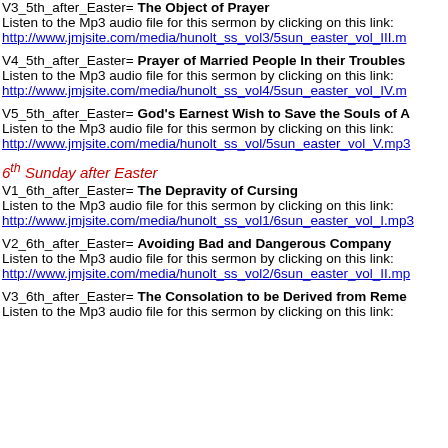V3_5th_after_Easter= The Object of Prayer
Listen to the Mp3 audio file for this sermon by clicking on this link:
http://www.jmjsite.com/media/hunolt_ss_vol3/5sun_easter_vol_III.mp3
V4_5th_after_Easter= Prayer of Married People In their Troubles
Listen to the Mp3 audio file for this sermon by clicking on this link:
http://www.jmjsite.com/media/hunolt_ss_vol4/5sun_easter_vol_IV.mp3
V5_5th_after_Easter= God’s Earnest Wish to Save the Souls of A
Listen to the Mp3 audio file for this sermon by clicking on this link:
http://www.jmjsite.com/media/hunolt_ss_vol/5sun_easter_vol_V.mp3
6th Sunday after Easter
V1_6th_after_Easter= The Depravity of Cursing
Listen to the Mp3 audio file for this sermon by clicking on this link:
http://www.jmjsite.com/media/hunolt_ss_vol1/6sun_easter_vol_I.mp3
V2_6th_after_Easter= Avoiding Bad and Dangerous Company
Listen to the Mp3 audio file for this sermon by clicking on this link:
http://www.jmjsite.com/media/hunolt_ss_vol2/6sun_easter_vol_II.mp3
V3_6th_after_Easter= The Consolation to be Derived from Reme
Listen to the Mp3 audio file for this sermon by clicking on this link: